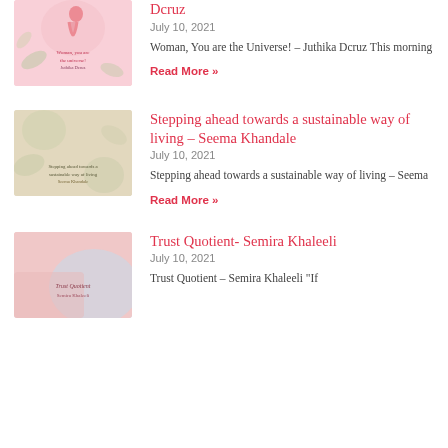[Figure (illustration): Thumbnail image with pink gradient background showing a woman silhouette and botanical elements, with text overlay about Woman You are the Universe by Juthika Dcruz]
Dcruz
July 10, 2021
Woman, You are the Universe! – Juthika Dcruz This morning
Read More »
[Figure (illustration): Thumbnail image with beige and green botanical gradient background and text overlay about Stepping ahead towards a sustainable way of living by Seema Khandale]
Stepping ahead towards a sustainable way of living – Seema Khandale
July 10, 2021
Stepping ahead towards a sustainable way of living – Seema
Read More »
[Figure (illustration): Thumbnail image with pink and blue abstract shapes and text overlay Trust Quotient Semira Khaleeli]
Trust Quotient- Semira Khaleeli
July 10, 2021
Trust Quotient – Semira Khaleeli "If